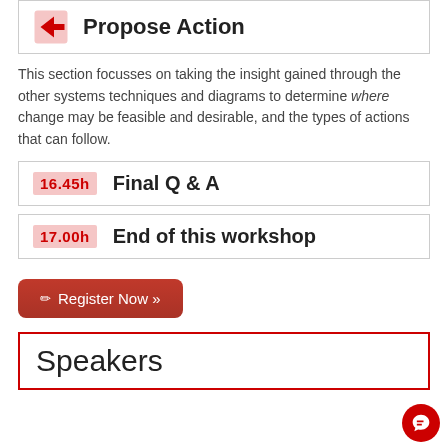Propose Action
This section focusses on taking the insight gained through the other systems techniques and diagrams to determine where change may be feasible and desirable, and the types of actions that can follow.
16.45h   Final Q & A
17.00h   End of this workshop
✏ Register Now »
Speakers